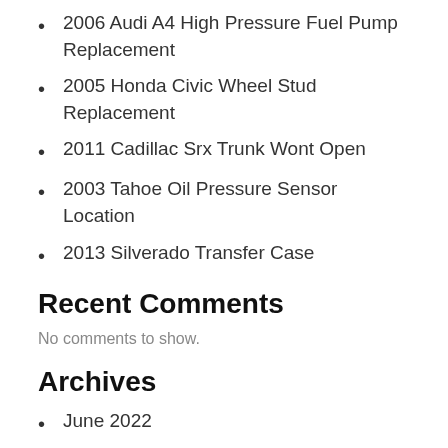2006 Audi A4 High Pressure Fuel Pump Replacement
2005 Honda Civic Wheel Stud Replacement
2011 Cadillac Srx Trunk Wont Open
2003 Tahoe Oil Pressure Sensor Location
2013 Silverado Transfer Case
Recent Comments
No comments to show.
Archives
June 2022
Categories